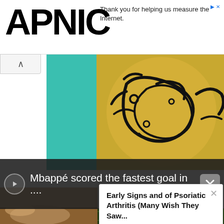APNIC
Thank you for helping us measure the Internet.
[Figure (illustration): Decorative image showing teal/green textured surface on the left and golden/yellow circular Arabic calligraphy art on the right]
Mbappé scored the fastest goal in ....
Early Signs and of Psoriatic Arthritis (Many Wish They Saw...
Psoriatic Arthritis | Search Ads | Sponsored
[Figure (photo): Close-up photo of someone's leg/ankle on a wooden surface]
[Figure (photo): Football/soccer field aerial view with a player visible]